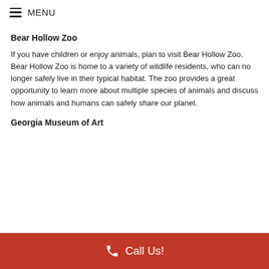≡ MENU
Bear Hollow Zoo
If you have children or enjoy animals, plan to visit Bear Hollow Zoo. Bear Hollow Zoo is home to a variety of wildlife residents, who can no longer safely live in their typical habitat. The zoo provides a great opportunity to learn more about multiple species of animals and discuss how animals and humans can safely share our planet.
Georgia Museum of Art
Call Us!